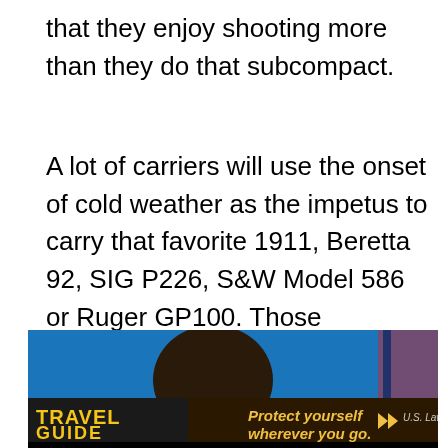that they enjoy shooting more than they do that subcompact.
A lot of carriers will use the onset of cold weather as the impetus to carry that favorite 1911, Beretta 92, SIG P226, S&W Model 586 or Ruger GP100. Those additional layers mean they can conceal those full-size handguns more easily, so long as you've gotten yourself a good gun belt that can take it.
[Figure (screenshot): Advertisement banner for 'Travel Guide for Gun Owners' featuring U.S. LawShield with text 'Protect yourself wherever you go.' and play button arrows, shown over a photo of a person against a blue background with a flag.]